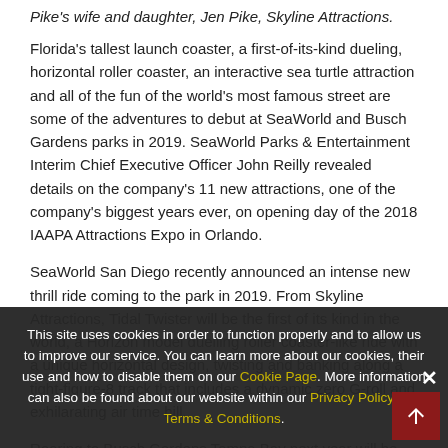Pike's wife and daughter, Jen Pike, Skyline Attractions.
Florida's tallest launch coaster, a first-of-its-kind dueling, horizontal roller coaster, an interactive sea turtle attraction and all of the fun of the world's most famous street are some of the adventures to debut at SeaWorld and Busch Gardens parks in 2019. SeaWorld Parks & Entertainment Interim Chief Executive Officer John Reilly revealed details on the company's 11 new attractions, one of the company's biggest years ever, on opening day of the 2018 IAAPA Attractions Expo in Orlando.
SeaWorld San Diego recently announced an intense new thrill ride coming to the park in 2019. From Skyline Attractions, Tidal Twister will be the first of its kind in the world, a Horizon model duelling roller coaster-like ride with a unique horizontal design, twisting and banking along a tight-figure-8 track that includes a dynamic zero G-roll and exhilarating air time hill.
Roaring to Busch Gardens Tampa Bay next year will be Florida's tallest launch coaster. By Premier Rides,
This site uses cookies in order to function properly and to allow us to improve our service. You can learn more about our cookies, their use and how to disable them on our Cookie Page. More information can also be found about our website within our Privacy Policy and Terms & Conditions.